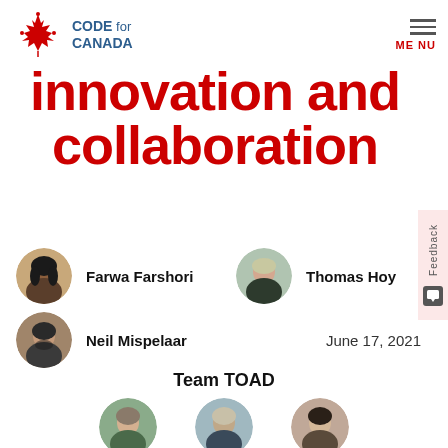[Figure (logo): Code for Canada logo with maple leaf icon and text]
innovation and collaboration
Farwa Farshori   Thomas Hoy
Neil Mispelaar   June 17, 2021
Team TOAD
[Figure (photo): Three circular team member photos at bottom]